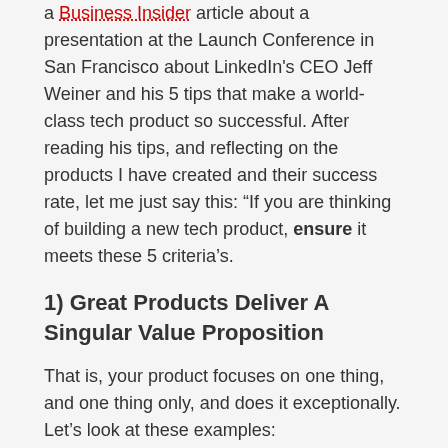a Business Insider article about a presentation at the Launch Conference in San Francisco about LinkedIn's CEO Jeff Weiner and his 5 tips that make a world-class tech product so successful. After reading his tips, and reflecting on the products I have created and their success rate, let me just say this: “If you are thinking of building a new tech product, ensure it meets these 5 criteria’s.
1) Great Products Deliver A Singular Value Proposition
That is, your product focuses on one thing, and one thing only, and does it exceptionally. Let’s look at these examples:
Facebook: Allows you to communicate with friends (and in my opinion, did so a lot better than MySpace)